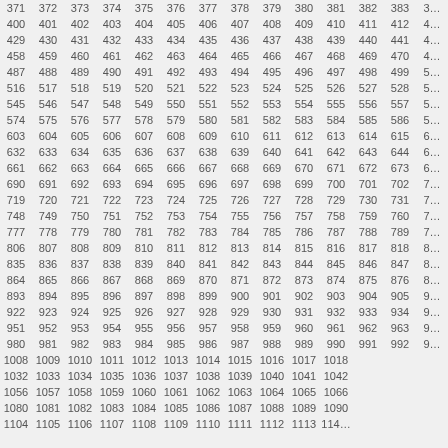| 371 | 372 | 373 | 374 | 375 | 376 | 377 | 378 | 379 | 380 | 381 | 382 | 383 | 3… |
| 400 | 401 | 402 | 403 | 404 | 405 | 406 | 407 | 408 | 409 | 410 | 411 | 412 | 4… |
| 429 | 430 | 431 | 432 | 433 | 434 | 435 | 436 | 437 | 438 | 439 | 440 | 441 | 4… |
| 458 | 459 | 460 | 461 | 462 | 463 | 464 | 465 | 466 | 467 | 468 | 469 | 470 | 4… |
| 487 | 488 | 489 | 490 | 491 | 492 | 493 | 494 | 495 | 496 | 497 | 498 | 499 | 5… |
| 516 | 517 | 518 | 519 | 520 | 521 | 522 | 523 | 524 | 525 | 526 | 527 | 528 | 5… |
| 545 | 546 | 547 | 548 | 549 | 550 | 551 | 552 | 553 | 554 | 555 | 556 | 557 | 5… |
| 574 | 575 | 576 | 577 | 578 | 579 | 580 | 581 | 582 | 583 | 584 | 585 | 586 | 5… |
| 603 | 604 | 605 | 606 | 607 | 608 | 609 | 610 | 611 | 612 | 613 | 614 | 615 | 6… |
| 632 | 633 | 634 | 635 | 636 | 637 | 638 | 639 | 640 | 641 | 642 | 643 | 644 | 6… |
| 661 | 662 | 663 | 664 | 665 | 666 | 667 | 668 | 669 | 670 | 671 | 672 | 673 | 6… |
| 690 | 691 | 692 | 693 | 694 | 695 | 696 | 697 | 698 | 699 | 700 | 701 | 702 | 7… |
| 719 | 720 | 721 | 722 | 723 | 724 | 725 | 726 | 727 | 728 | 729 | 730 | 731 | 7… |
| 748 | 749 | 750 | 751 | 752 | 753 | 754 | 755 | 756 | 757 | 758 | 759 | 760 | 7… |
| 777 | 778 | 779 | 780 | 781 | 782 | 783 | 784 | 785 | 786 | 787 | 788 | 789 | 7… |
| 806 | 807 | 808 | 809 | 810 | 811 | 812 | 813 | 814 | 815 | 816 | 817 | 818 | 8… |
| 835 | 836 | 837 | 838 | 839 | 840 | 841 | 842 | 843 | 844 | 845 | 846 | 847 | 8… |
| 864 | 865 | 866 | 867 | 868 | 869 | 870 | 871 | 872 | 873 | 874 | 875 | 876 | 8… |
| 893 | 894 | 895 | 896 | 897 | 898 | 899 | 900 | 901 | 902 | 903 | 904 | 905 | 9… |
| 922 | 923 | 924 | 925 | 926 | 927 | 928 | 929 | 930 | 931 | 932 | 933 | 934 | 9… |
| 951 | 952 | 953 | 954 | 955 | 956 | 957 | 958 | 959 | 960 | 961 | 962 | 963 | 9… |
| 980 | 981 | 982 | 983 | 984 | 985 | 986 | 987 | 988 | 989 | 990 | 991 | 992 | 9… |
| 1008 | 1009 | 1010 | 1011 | 1012 | 1013 | 1014 | 1015 | 1016 | 1017 | 1018 |  |  |  |
| 1032 | 1033 | 1034 | 1035 | 1036 | 1037 | 1038 | 1039 | 1040 | 1041 | 1042 |  |  |  |
| 1056 | 1057 | 1058 | 1059 | 1060 | 1061 | 1062 | 1063 | 1064 | 1065 | 1066 |  |  |  |
| 1080 | 1081 | 1082 | 1083 | 1084 | 1085 | 1086 | 1087 | 1088 | 1089 | 1090 |  |  |  |
| 1104 | 1105 | 1106 | 1107 | 1108 | 1109 | 1110 | 1111 | 1112 | 1113 | 114… |  |  |  |